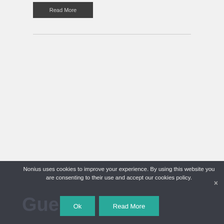[Figure (screenshot): A 'Read More' button with dark gray background and light gray text at the top of the page]
Nonius uses cookies to improve your experience. By using this website you are consenting to their use and accept our cookies policy.
Ok
Read More